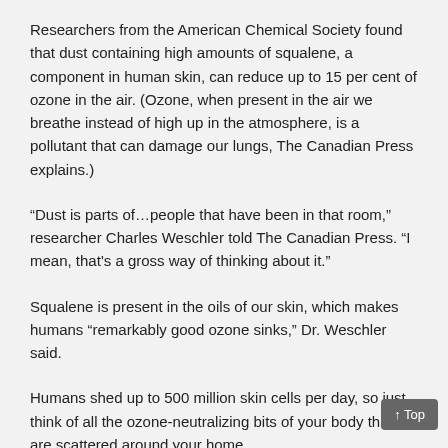Researchers from the American Chemical Society found that dust containing high amounts of squalene, a component in human skin, can reduce up to 15 per cent of ozone in the air. (Ozone, when present in the air we breathe instead of high up in the atmosphere, is a pollutant that can damage our lungs, The Canadian Press explains.)
“Dust is parts of…people that have been in that room,” researcher Charles Weschler told The Canadian Press. “I mean, that's a gross way of thinking about it.”
Squalene is present in the oils of our skin, which makes humans “remarkably good ozone sinks,” Dr. Weschler said.
Humans shed up to 500 million skin cells per day, so just think of all the ozone-neutralizing bits of your body that are scattered around your home.
The Canadian Press warns you may not want to retire your feather duster just yet, though.